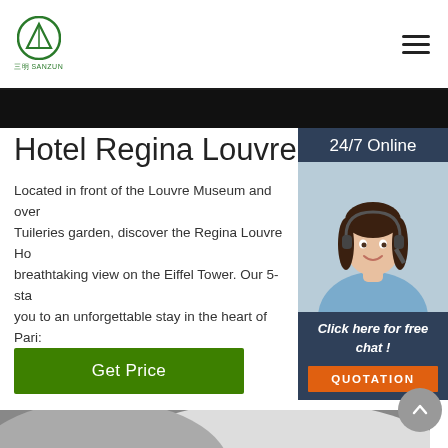SANZUN logo and hamburger menu
Hotel Regina Louvre
Located in front of the Louvre Museum and over Tuileries garden, discover the Regina Louvre Ho breathtaking view on the Eiffel Tower. Our 5-sta you to an unforgettable stay in the heart of Pari: arrondissement.
[Figure (screenshot): 24/7 Online chat widget with agent photo, 'Click here for free chat!' text and QUOTATION button]
[Figure (photo): Bottom section showing a bathroom or white curved surface]
Get Price